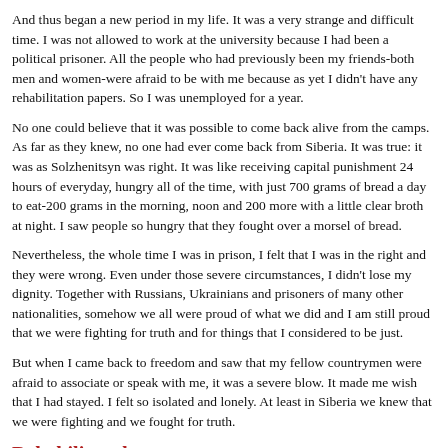And thus began a new period in my life. It was a very strange and difficult time. I was not allowed to work at the university because I had been a political prisoner. All the people who had previously been my friends-both men and women-were afraid to be with me because as yet I didn't have any rehabilitation papers. So I was unemployed for a year.
No one could believe that it was possible to come back alive from the camps. As far as they knew, no one had ever come back from Siberia. It was true: it was as Solzhenitsyn was right. It was like receiving capital punishment 24 hours of everyday, hungry all of the time, with just 700 grams of bread a day to eat-200 grams in the morning, noon and 200 more with a little clear broth at night. I saw people so hungry that they fought over a morsel of bread.
Nevertheless, the whole time I was in prison, I felt that I was in the right and they were wrong. Even under those severe circumstances, I didn't lose my dignity. Together with Russians, Ukrainians and prisoners of many other nationalities, somehow we all were proud of what we did and I am still proud that we were fighting for truth and for things that I considered to be just.
But when I came back to freedom and saw that my fellow countrymen were afraid to associate or speak with me, it was a severe blow. It made me wish that I had stayed. I felt so isolated and lonely. At least in Siberia we knew that we were fighting and we fought for truth.
Rehabilitated
It was nearly a year before I received a letter from the Moscow High Court saying I was "rehabilitated". That letter cleared me-all accusations were annulled and I was free. The government paid me two months' salary and provided me with an apartment-